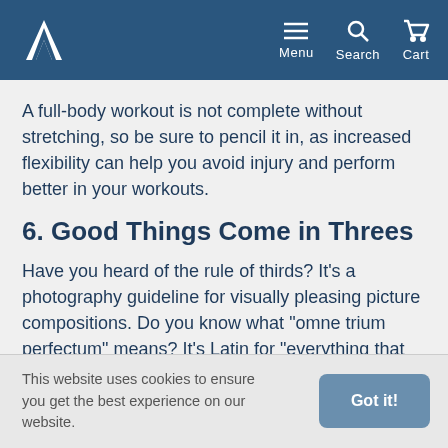Athletico — Menu | Search | Cart
A full-body workout is not complete without stretching, so be sure to pencil it in, as increased flexibility can help you avoid injury and perform better in your workouts.
6. Good Things Come in Threes
Have you heard of the rule of thirds? It's a photography guideline for visually pleasing picture compositions. Do you know what "omne trium perfectum" means? It's Latin for "everything that comes in threes is perfect." Those rules apply to your strength-training workout frequency
This website uses cookies to ensure you get the best experience on our website.